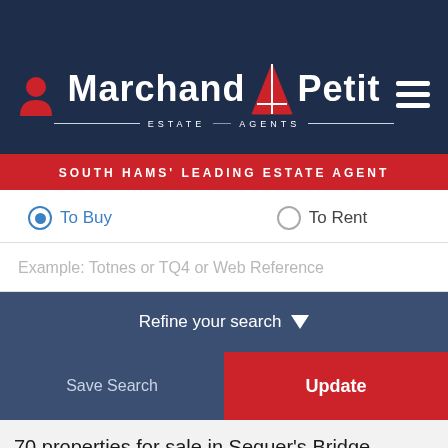[Figure (logo): Marchand Petit Estate Agents logo with red sailboat triangle, white text on dark navy background, with tagline 'SOUTH HAMS' LEADING ESTATE AGENT' in red banner below]
To Buy (selected radio button)
To Rent (unselected radio button)
Example: Totnes or TQ4 or Web Reference
Refine your search
Save Search
Update
70 properties for sale in Sequer's Bridge, Devon